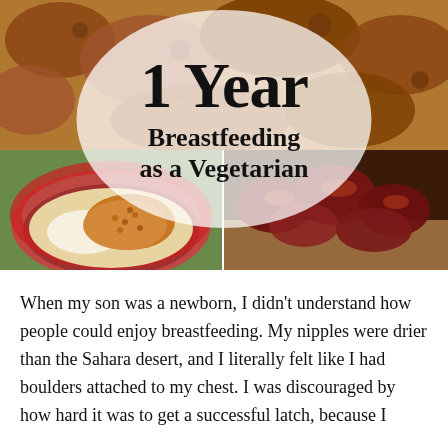[Figure (photo): Collage of three food photos: top image shows crispy fried food, bottom-left shows a bowl of lentils/dal with rice in a red patterned bowl, bottom-right shows glazed/barbecued meat pieces. Overlaid with a circular white semi-transparent badge containing the title text.]
1 Year Breastfeeding as a Vegetarian
When my son was a newborn, I didn't understand how people could enjoy breastfeeding. My nipples were drier than the Sahara desert, and I literally felt like I had boulders attached to my chest. I was discouraged by how hard it was to get a successful latch, because I